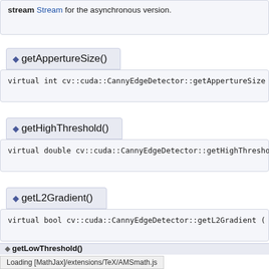stream Stream for the asynchronous version.
◆ getAppertureSize()
virtual int cv::cuda::CannyEdgeDetector::getAppertureSize ( ) const
◆ getHighThreshold()
virtual double cv::cuda::CannyEdgeDetector::getHighThreshold ( ) c
◆ getL2Gradient()
virtual bool cv::cuda::CannyEdgeDetector::getL2Gradient ( ) const
Loading [MathJax]/extensions/TeX/AMSmath.js